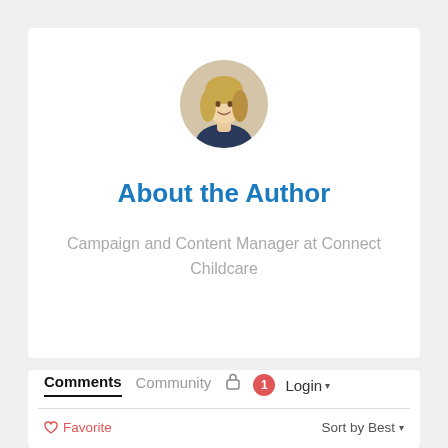[Figure (photo): Circular avatar photo of a blonde woman smiling]
About the Author
Campaign and Content Manager at Connect Childcare
Comments
Community
Login ▾
♡ Favorite
Sort by Best ▾